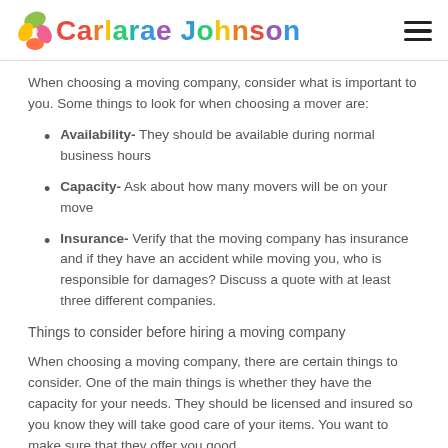Carlarae Johnson
When choosing a moving company, consider what is important to you. Some things to look for when choosing a mover are:
Availability-  They should be available during normal business hours
Capacity- Ask about how many movers will be on your move
Insurance- Verify that the moving company has insurance and if they have an accident while moving you, who is responsible for damages? Discuss a quote with at least three different companies.
Things to consider before hiring a moving company
When choosing a moving company, there are certain things to consider. One of the main things is whether they have the capacity for your needs. They should be licensed and insured so you know they will take good care of your items. You want to make sure that they offer you good